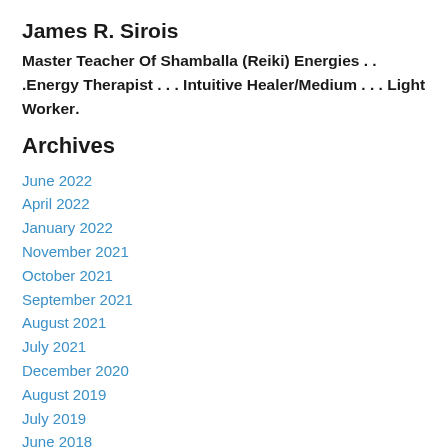James R. Sirois
Master Teacher Of Shamballa (Reiki) Energies . . .Energy Therapist . . . Intuitive Healer/Medium . . . Light Worker.
Archives
June 2022
April 2022
January 2022
November 2021
October 2021
September 2021
August 2021
July 2021
December 2020
August 2019
July 2019
June 2018
May 2018